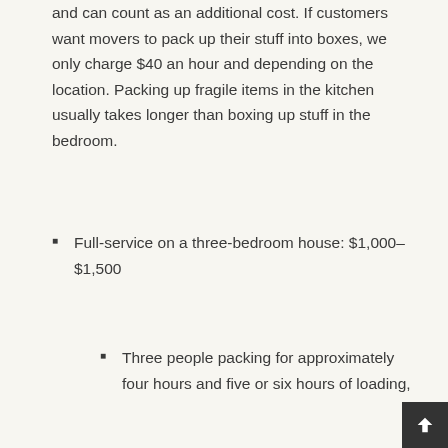and can count as an additional cost. If customers want movers to pack up their stuff into boxes, we only charge $40 an hour and depending on the location. Packing up fragile items in the kitchen usually takes longer than boxing up stuff in the bedroom.
Full-service on a three-bedroom house: $1,000–$1,500
Three people packing for approximately four hours and five or six hours of loading,